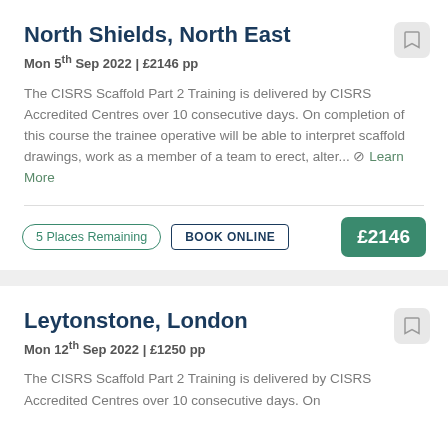North Shields, North East
Mon 5th Sep 2022 | £2146 pp
The CISRS Scaffold Part 2 Training is delivered by CISRS Accredited Centres over 10 consecutive days. On completion of this course the trainee operative will be able to interpret scaffold drawings, work as a member of a team to erect, alter... Learn More
5 Places Remaining
BOOK ONLINE
£2146
Leytonstone, London
Mon 12th Sep 2022 | £1250 pp
The CISRS Scaffold Part 2 Training is delivered by CISRS Accredited Centres over 10 consecutive days. On